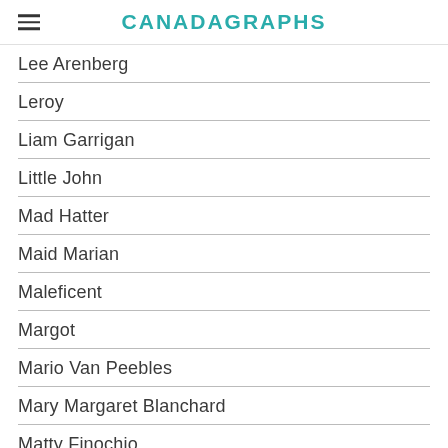CANADAGRAPHS
Lee Arenberg
Leroy
Liam Garrigan
Little John
Mad Hatter
Maid Marian
Maleficent
Margot
Mario Van Peebles
Mary Margaret Blanchard
Matty Finochio
Megara
Meghan Ory
Merida
Merrin Dungey